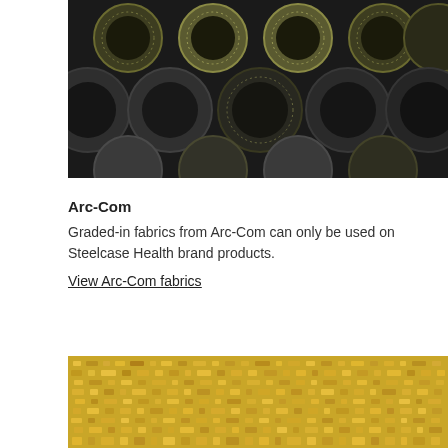[Figure (photo): Close-up photo of a dark fabric with circular geometric patterns in black, grey, olive/gold tones arranged in a repeating pattern]
Arc-Com
Graded-in fabrics from Arc-Com can only be used on Steelcase Health brand products. View Arc-Com fabrics
[Figure (photo): Close-up photo of a golden/yellow fabric with a repeating small square or dot mosaic texture pattern]